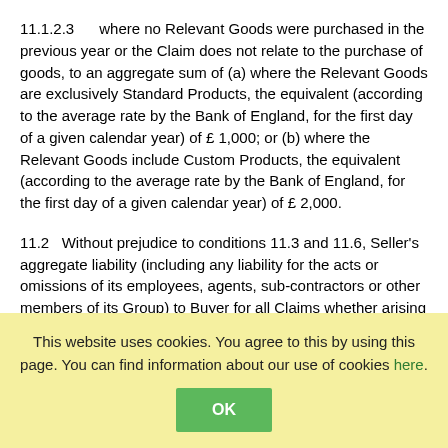11.1.2.3    where no Relevant Goods were purchased in the previous year or the Claim does not relate to the purchase of goods, to an aggregate sum of (a) where the Relevant Goods are exclusively Standard Products, the equivalent (according to the average rate by the Bank of England, for the first day of a given calendar year) of £ 1,000; or (b) where the Relevant Goods include Custom Products, the equivalent (according to the average rate by the Bank of England, for the first day of a given calendar year) of £ 2,000.
11.2    Without prejudice to conditions 11.3 and 11.6, Seller's aggregate liability (including any liability for the acts or omissions of its employees, agents, sub-contractors or other members of its Group) to Buyer for all Claims whether arising in contract, tort (including negligence or breach of a statutory duty), misrepresentation, restitution or otherwise shall be limited as follows:
11.2.1  Seller's aggregate liability for a Claim in relation to any single item of Product shall be limited to the Price payable to Seller by Buyer
This website uses cookies. You agree to this by using this page. You can find information about our use of cookies here.